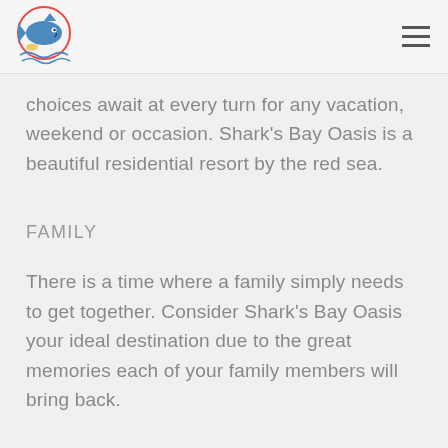Shark's Bay Oasis logo and navigation
choices await at every turn for any vacation, weekend or occasion. Shark's Bay Oasis is a beautiful residential resort by the red sea.
FAMILY
There is a time where a family simply needs to get together. Consider Shark's Bay Oasis your ideal destination due to the great memories each of your family members will bring back.